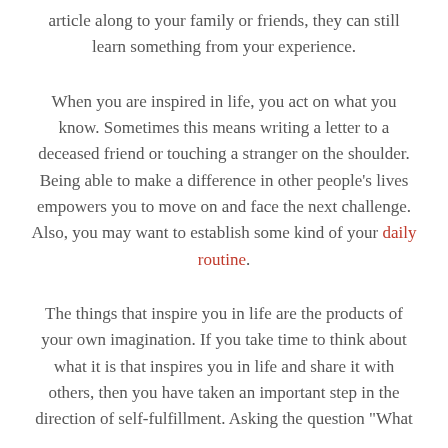article along to your family or friends, they can still learn something from your experience.
When you are inspired in life, you act on what you know. Sometimes this means writing a letter to a deceased friend or touching a stranger on the shoulder. Being able to make a difference in other people's lives empowers you to move on and face the next challenge. Also, you may want to establish some kind of your daily routine.
The things that inspire you in life are the products of your own imagination. If you take time to think about what it is that inspires you in life and share it with others, then you have taken an important step in the direction of self-fulfillment. Asking the question "What